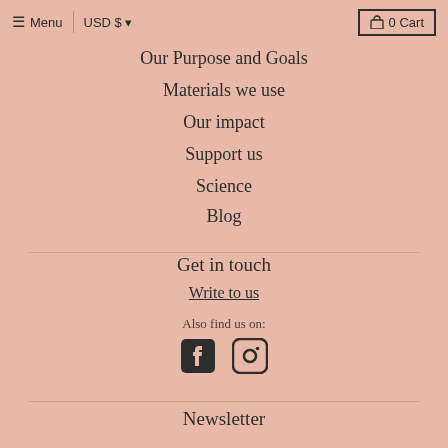≡ Menu | USD $ ▼   🔒 0 Cart
Our Purpose and Goals
Materials we use
Our impact
Support us
Science
Blog
Get in touch
Write to us
Also find us on:
[Figure (illustration): Facebook and Instagram social media icons]
Newsletter